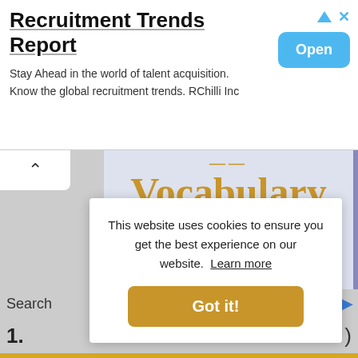Recruitment Trends Report
Stay Ahead in the world of talent acquisition. Know the global recruitment trends. RChilli Inc
[Figure (screenshot): Open button (blue rounded rectangle) for the recruitment trends ad]
[Figure (illustration): Vocabulary Booster Book PDF cover image with gold and purple serif text on a light blue-grey background]
This website uses cookies to ensure you get the best experience on our website.  Learn more
Got it!
Search
1.